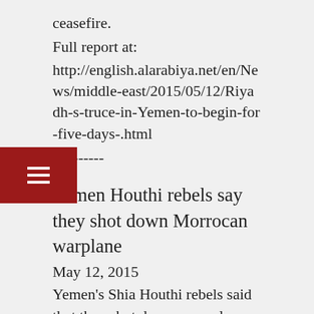ceasefire.
Full report at:
http://english.alarabiya.net/en/News/middle-east/2015/05/12/Riyadh-s-truce-in-Yemen-to-begin-for-five-days-.html
----------
Yemen Houthi rebels say they shot down Morrocan warplane
May 12, 2015
Yemen's Shia Houthi rebels said  that they shot down a warplane of the Saudi-led coalition, shortly after Morocco said one of its fighter jets had gone missing on a sortie.
"The air defence of the tribes shot down a